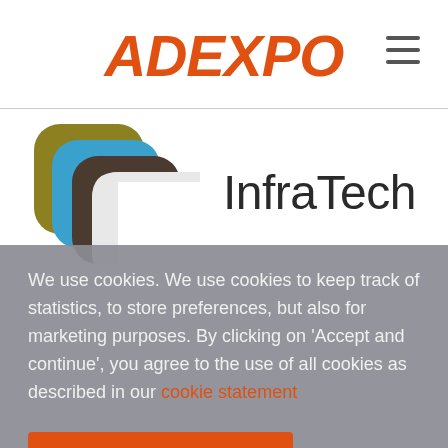ADEXPO
[Figure (logo): InfraTech logo with layered rounded-square shapes in olive/yellow, blue, dark brown, and white colors, next to the text InfraTech]
We use cookies. We use cookies to keep track of statistics, to store preferences, but also for marketing purposes. By clicking on 'Accept and continue', you agree to the use of all cookies as described in our cookie statement
Accept & continue